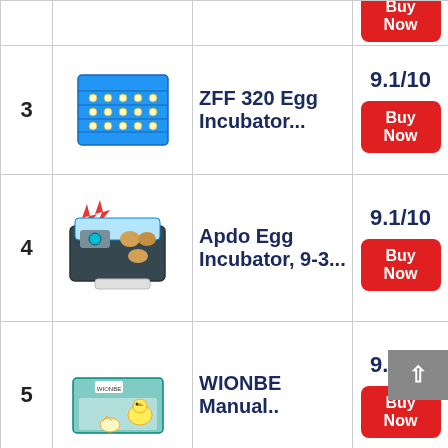| # | Image | Product | Score / Action |
| --- | --- | --- | --- |
|  |  |  | Buy Now (partial) |
| 3 | [ZFF 320 Egg Incubator image] | ZFF 320 Egg Incubator... | 9.1/10 | Buy Now |
| 4 | [Apdo Egg Incubator image] | Apdo Egg Incubator, 9-3... | 9.1/10 | Buy Now |
| 5 | [WIONBE Manual image] | WIONBE Manual.. | 9.1/10 | Buy Now |
| 6 | [Sailnovo Egg image] | Sailnovo Egg | 9.1/10 |